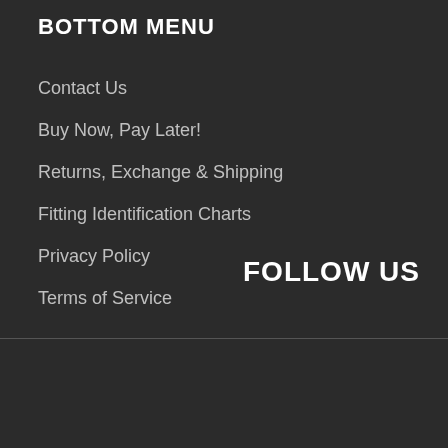BOTTOM MENU
Contact Us
Buy Now, Pay Later!
Returns, Exchange & Shipping
Fitting Identification Charts
Privacy Policy
Terms of Service
FOLLOW US
© 2022, Brisbane Fuel Injection Services. Powered by Shopify
[Figure (other): Payment method logos: American Express, Apple Pay, Google Pay, Mastercard, PayPal, Shopify Pay, Visa]